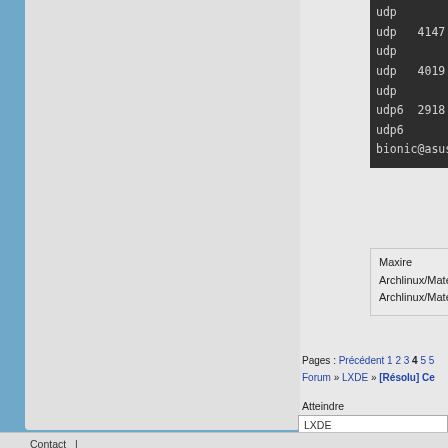[Figure (screenshot): Terminal output showing network protocol rows: udp, udp 4147, udp, udp 4019, udp, udp6 2918, udp6, bionic@asus prompt]
Maxire
Archlinux/Mate +
Archlinux/Mate s
Pages : Précédent 1 2 3 4 5 5
Forum » LXDE » [Résolu] Ce
Atteindre
LXDE
Contact  |